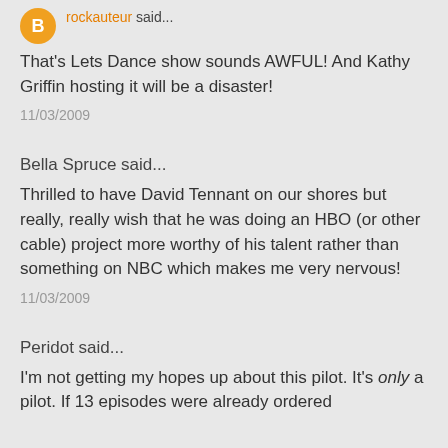rockauteur said...
That's Lets Dance show sounds AWFUL! And Kathy Griffin hosting it will be a disaster!
11/03/2009
Bella Spruce said...
Thrilled to have David Tennant on our shores but really, really wish that he was doing an HBO (or other cable) project more worthy of his talent rather than something on NBC which makes me very nervous!
11/03/2009
Peridot said...
I'm not getting my hopes up about this pilot. It's only a pilot. If 13 episodes were already ordered